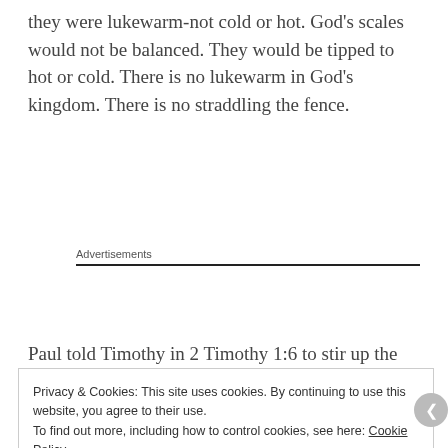they were lukewarm-not cold or hot. God's scales would not be balanced. They would be tipped to hot or cold. There is no lukewarm in God's kingdom. There is no straddling the fence.
Advertisements
Paul told Timothy in 2 Timothy 1:6 to stir up the gift that was in him. 1 Timothy 4:14 he told him to not
Privacy & Cookies: This site uses cookies. By continuing to use this website, you agree to their use.
To find out more, including how to control cookies, see here: Cookie Policy
Close and accept